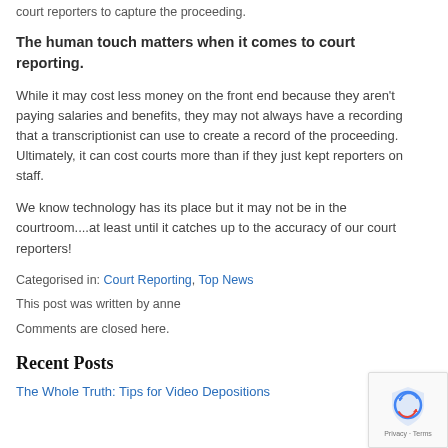court reporters to capture the proceeding.
The human touch matters when it comes to court reporting.
While it may cost less money on the front end because they aren't paying salaries and benefits, they may not always have a recording that a transcriptionist can use to create a record of the proceeding. Ultimately, it can cost courts more than if they just kept reporters on staff.
We know technology has its place but it may not be in the courtroom....at least until it catches up to the accuracy of our court reporters!
Categorised in: Court Reporting, Top News
This post was written by anne
Comments are closed here.
Recent Posts
The Whole Truth: Tips for Video Depositions